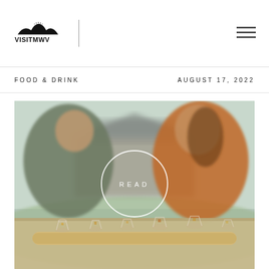VISITMWV
FOOD & DRINK
AUGUST 17, 2022
[Figure (photo): A man and woman sitting outdoors at a table with a flight of whiskey/spirits glasses on a wooden paddle board, laughing and talking. A barn-style building is visible in the blurred background. A white circle with the word READ is overlaid in the center of the image.]